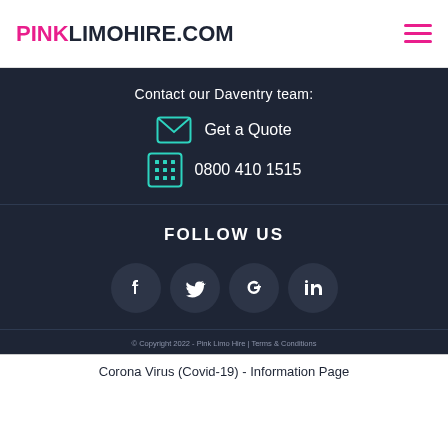PINKLIMOHIRE.COM
Contact our Daventry team:
Get a Quote
0800 410 1515
FOLLOW US
[Figure (illustration): Social media icon buttons: Facebook, Twitter, Google+, LinkedIn]
© Copyright 2022 - Pink Limo Hire | Terms & Conditions
Corona Virus (Covid-19) - Information Page